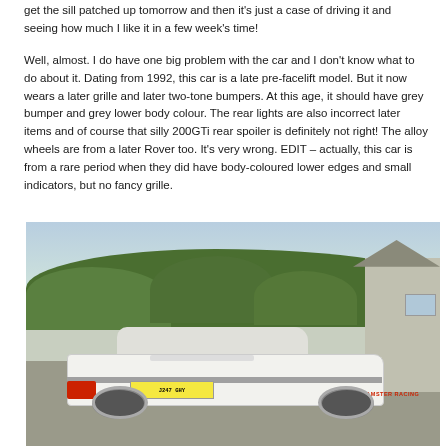get the sill patched up tomorrow and then it's just a case of driving it and seeing how much I like it in a few week's time!
Well, almost. I do have one big problem with the car and I don't know what to do about it. Dating from 1992, this car is a late pre-facelift model. But it now wears a later grille and later two-tone bumpers. At this age, it should have grey bumper and grey lower body colour. The rear lights are also incorrect later items and of course that silly 200GTi rear spoiler is definitely not right! The alloy wheels are from a later Rover too. It's very wrong. EDIT – actually, this car is from a rare period when they did have body-coloured lower edges and small indicators, but no fancy grille.
[Figure (photo): Rear three-quarter view of a white Rover 200 series car (registration J247 GHY) parked on a gravel driveway with 'HAMSTER RACING' lettering on the side, trees and a house in the background.]